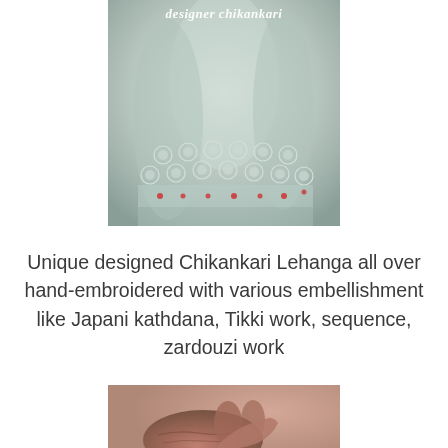[Figure (photo): Close-up of a Chikankari Lehanga fabric with intricate hand embroidery featuring circular patterns, sequins, and floral motifs. Text overlay at top reads 'designer chikankari' in white italic script.]
Unique designed Chikankari Lehanga all over hand-embroidered with various embellishment like Japani kathdana, Tikki work, sequence, zardouzi work
[Figure (photo): Close-up photo of an elderly craftsman's or artisan's hands, showing wrinkled skin, with blurred fabric in the background.]